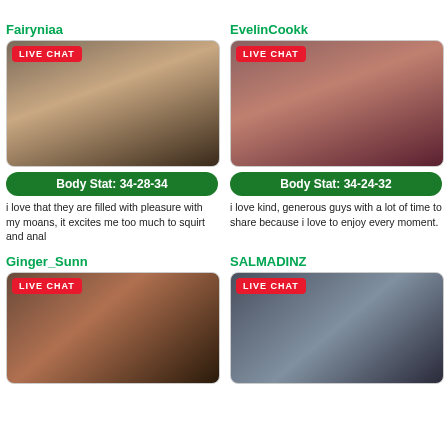Fairyniaa
[Figure (photo): Woman in black top posing with hand near mouth, LIVE CHAT badge]
Body Stat: 34-28-34
i love that they are filled with pleasure with my moans, it excites me too much to squirt and anal
EvelinCookk
[Figure (photo): Woman with curly hair in red top smiling, LIVE CHAT badge]
Body Stat: 34-24-32
i love kind, generous guys with a lot of time to share because i love to enjoy every moment.
Ginger_Sunn
[Figure (photo): Woman lying down, warm tones, LIVE CHAT badge]
SALMADINZ
[Figure (photo): Woman with long dark hair, LIVE CHAT badge]